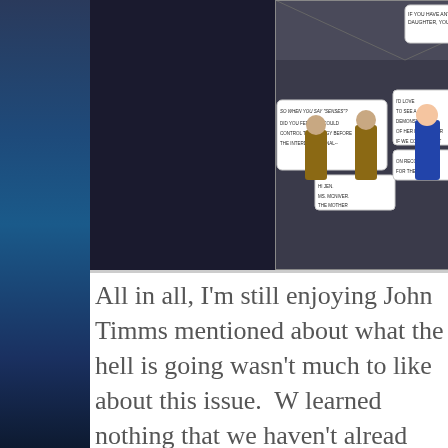[Figure (illustration): Comic book panel showing characters in conversation, with speech bubbles. Characters include figures in blue and brown costumes in what appears to be a futuristic or sci-fi setting.]
All in all, I'm still enjoying John Timms mentioned about what the hell is going wasn't much to like about this issue.  W learned nothing that we haven't alread making me want to tear my hair out fo around because I don't know why eve over and over again.  Really the plot i